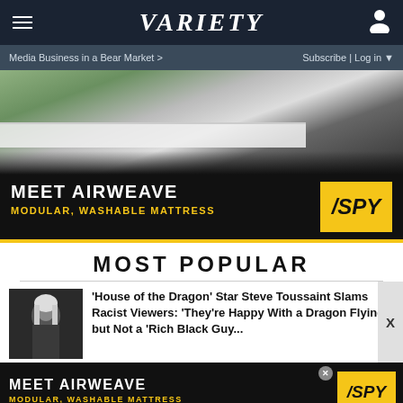VARIETY
Media Business in a Bear Market >
Subscribe | Log in
[Figure (photo): Advertisement: Meet Airweave – Modular, Washable Mattress. Person lying on a mattress with SPY logo badge.]
MOST POPULAR
'House of the Dragon' Star Steve Toussaint Slams Racist Viewers: 'They're Happy With a Dragon Flying' but Not a 'Rich Black Guy...
[Figure (photo): Advertisement banner at bottom: Meet Airweave – Modular, Washable Mattress with SPY logo.]